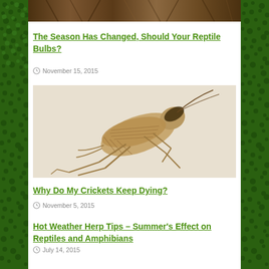[Figure (photo): Top partial image of a wooden log or bark, brownish texture, cropped at top of page]
The Season Has Changed, Should Your Reptile Bulbs?
November 15, 2015
[Figure (photo): Close-up photograph of a cricket (brown/tan coloring) on a white background, showing detailed legs, wings, and antennae]
Why Do My Crickets Keep Dying?
November 5, 2015
Hot Weather Herp Tips – Summer's Effect on Reptiles and Amphibians
July 14, 2015